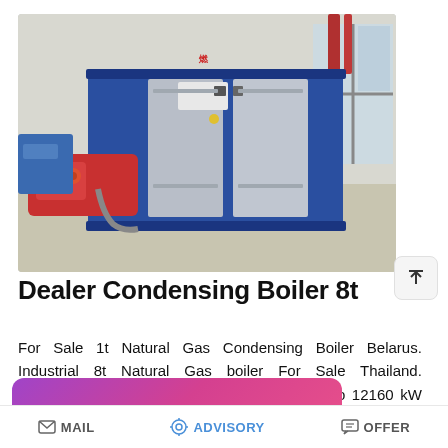[Figure (photo): Industrial condensing boiler unit — large blue and silver rectangular cabinet-style boiler with a red burner unit attached at the front, displayed in a warehouse or factory setting. Red piping visible on the right side.]
Dealer Condensing Boiler 8t
For Sale 1t Natural Gas Condensing Boiler Belarus. Industrial 8t Natural Gas boiler For Sale Thailand. Condensing - 30 kW to 12160 kW red commercial boilers the flu…
[Figure (screenshot): WhatsApp promotional popup overlay: 'Save Stickers on WhatsApp' with phone icon and alien/creature emoji icon]
MAIL   ADVISORY   OFFER